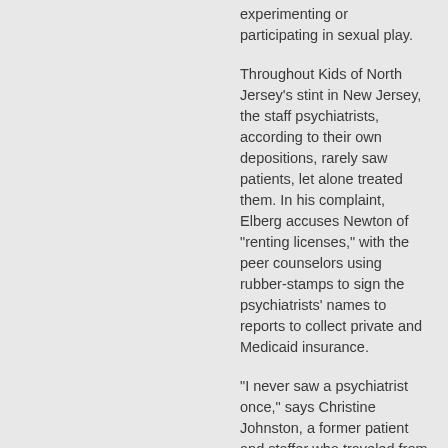experimenting or participating in sexual play.
Throughout Kids of North Jersey's stint in New Jersey, the staff psychiatrists, according to their own depositions, rarely saw patients, let alone treated them. In his complaint, Elberg accuses Newton of "renting licenses," with the peer counselors using rubber-stamps to sign the psychiatrists' names to reports to collect private and Medicaid insurance.
"I never saw a psychiatrist once," says Christine Johnston, a former patient and staffer who traveled from San Diego to watch the trial.